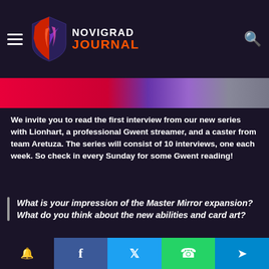Novigrad Journal
[Figure (photo): Banner image strip showing colored background — red on left, purple on right]
We invite you to read the first interview from our new series with Lionhart, a professional Gwent streamer, and a caster from team Aretuza. The series will consist of 10 interviews, one each week. So check in every Sunday for some Gwent reading!
What is your impression of the Master Mirror expansion? What do you think about the new abilities and card art?
The card art in MM is the best we've ever experienced in Gwent (and that's saying something!!) The game looks more
🔔 Facebook Twitter WhatsApp Telegram